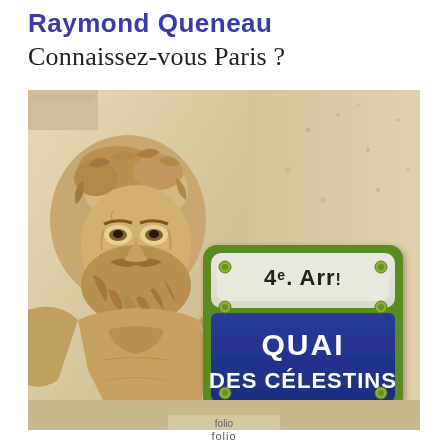Raymond Queneau
Connaissez-vous Paris ?
[Figure (photo): Book cover photograph showing a Parisian stone architectural sculpture (bearded male face/atlas figure) on a building facade, alongside a blue and green Paris street sign reading '4e. Arr.' above and 'QUAI DES CÉLESTINS' below. The sign has a green border with bolt details and a blue enamel plaque with white lettering.]
folio